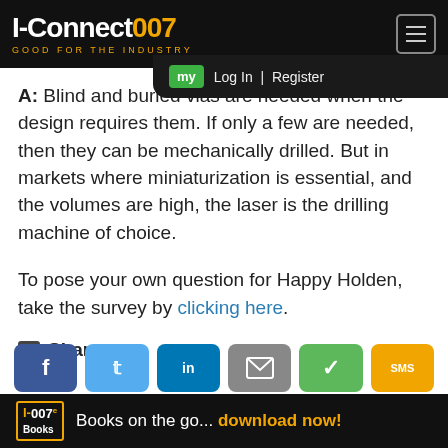I-Connect007 GOOD FOR THE INDUSTRY
A: Blind and buried vias are needed when the design requires them. If only a few are needed, then they can be mechanically drilled. But in markets where miniaturization is essential, and the volumes are high, the laser is the drilling machine of choice.
To pose your own question for Happy Holden, take the survey by clicking here.
Share
[Figure (other): Social sharing buttons: Facebook, Twitter, LinkedIn, Email, Greenlist, and one more (yellow)]
I-007e Books Books on the go... download now!